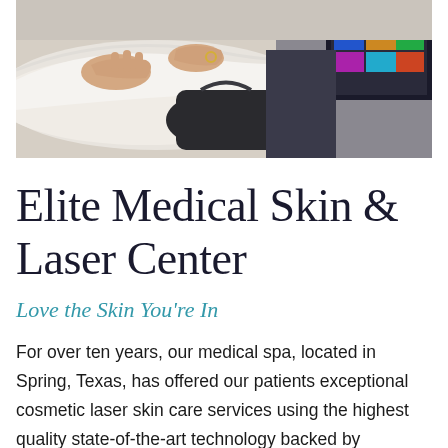[Figure (photo): A person receiving a cosmetic skin care treatment at a spa, with hands visible and a sink or basin in the foreground.]
Elite Medical Skin & Laser Center
Love the Skin You're In
For over ten years, our medical spa, located in Spring, Texas, has offered our patients exceptional cosmetic laser skin care services using the highest quality state-of-the-art technology backed by